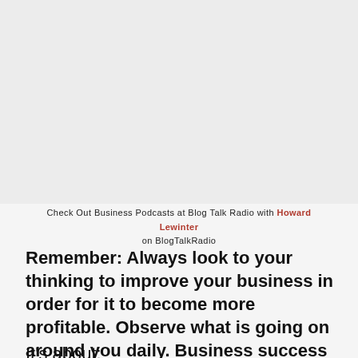[Figure (photo): Large image area at top of page, light gray/white background, appears to be a photo or graphic (content not clearly visible)]
Check Out Business Podcasts at Blog Talk Radio with Howard Lewinter on BlogTalkRadio
Remember: Always look to your thinking to improve your business in order for it to become more profitable. Observe what is going on around you daily. Business success begins with how you think.
It's about: